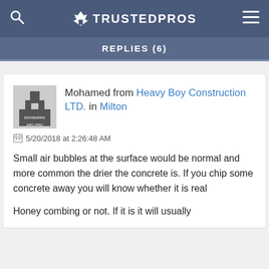TRUSTEDPROS
REPLIES (6)
Mohamed from Heavy Boy Construction LTD. in Milton
5/20/2018 at 2:26:48 AM

Small air bubbles at the surface would be normal and more common the drier the concrete is. If you chip some concrete away you will know whether it is real

Honey combing or not. If it is it will usually have off cuts or similar and you will be cut...